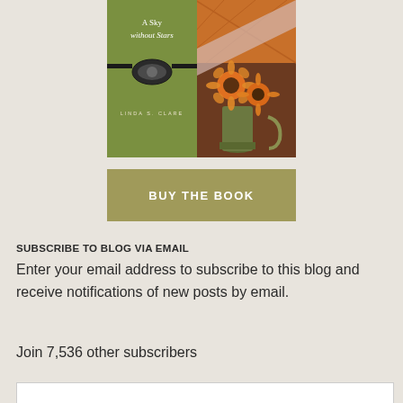[Figure (photo): Book cover image for 'A Sky without Stars' by Linda S. Clare, showing a green book cover with decorative belt buckle and sunflowers in a vase on the right side]
BUY THE BOOK
SUBSCRIBE TO BLOG VIA EMAIL
Enter your email address to subscribe to this blog and receive notifications of new posts by email.
Join 7,536 other subscribers